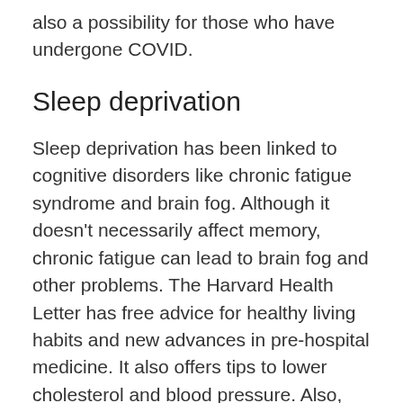also a possibility for those who have undergone COVID.
Sleep deprivation
Sleep deprivation has been linked to cognitive disorders like chronic fatigue syndrome and brain fog. Although it doesn't necessarily affect memory, chronic fatigue can lead to brain fog and other problems. The Harvard Health Letter has free advice for healthy living habits and new advances in pre-hospital medicine. It also offers tips to lower cholesterol and blood pressure. Also, you'll learn more about the latest research on the effects of stress on your health.
Depression is a leading cause of brain fog, and treatment for depression usually involves